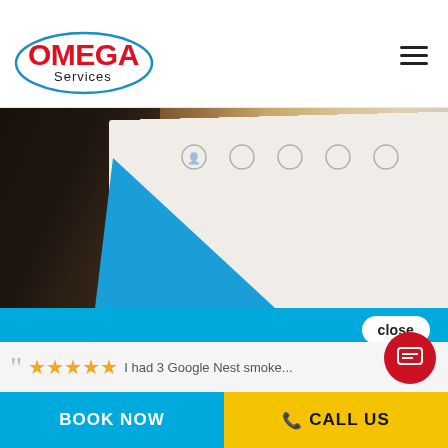OMEGA Services
[Figure (photo): Person in dark suit jacket holding a white board/document with blue triangular element and circular icons visible]
close
Hi there, have a question? Text us here.
I had 3 Google Nest smoke...
BOOK NOW
CALL US